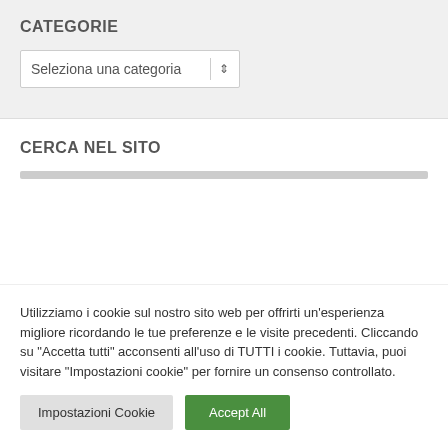CATEGORIE
[Figure (screenshot): Dropdown selector with text 'Seleziona una categoria' and a spinner arrow icon]
CERCA NEL SITO
Utilizziamo i cookie sul nostro sito web per offrirti un'esperienza migliore ricordando le tue preferenze e le visite precedenti. Cliccando su "Accetta tutti" acconsenti all'uso di TUTTI i cookie. Tuttavia, puoi visitare "Impostazioni cookie" per fornire un consenso controllato.
Impostazioni Cookie | Accept All